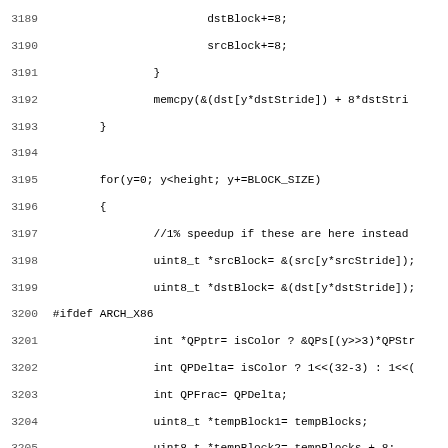[Figure (screenshot): Source code listing showing C code lines 3189-3220, with line numbers on the left and code content on the right in monospace font. The code includes memory operations, loops, preprocessor directives #ifdef ARCH_X86 and #endif, and comments about block copying operations.]